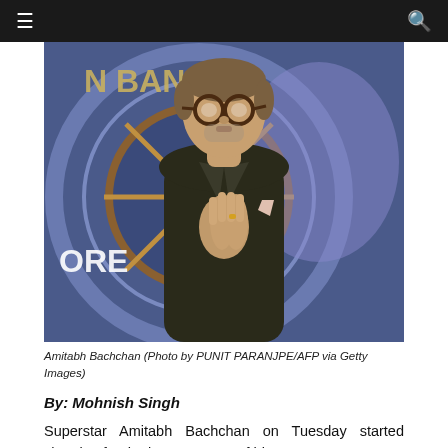≡  🔍
[Figure (photo): Amitabh Bachchan standing in front of Kaun Banega Crorepati set backdrop, wearing dark suit with light pocket square, hands pressed together in namaste gesture, wearing round glasses]
Amitabh Bachchan (Photo by PUNIT PARANJPE/AFP via Getty Images)
By: Mohnish Singh
Superstar Amitabh Bachchan on Tuesday started shooting for the latest season of his